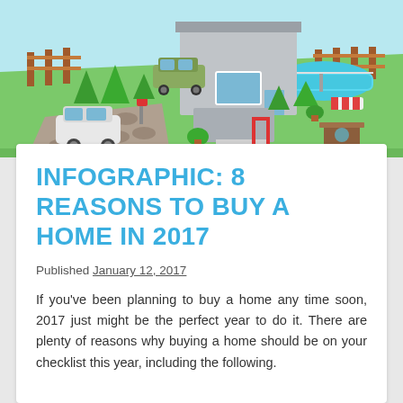[Figure (illustration): Isometric illustration of a modern house with a green lawn, swimming pool, driveway with cars, trees, fence, and outdoor furniture]
INFOGRAPHIC: 8 REASONS TO BUY A HOME IN 2017
Published January 12, 2017
If you've been planning to buy a home any time soon, 2017 just might be the perfect year to do it. There are plenty of reasons why buying a home should be on your checklist this year, including the following.